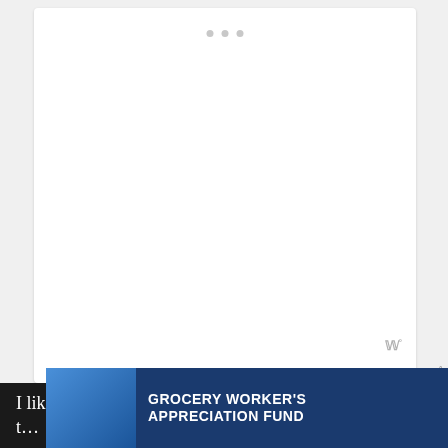[Figure (screenshot): White content card with three small grey dots at the top center, representing a loading or placeholder UI element. The card is on a light grey background.]
I like to break things down for my readers, t... lusi
[Figure (infographic): Advertisement banner for Grocery Worker's Appreciation Fund, featuring a person in a grocery store, Kendall-Jackson wine logo, and United Way logo. Has a close (X) button.]